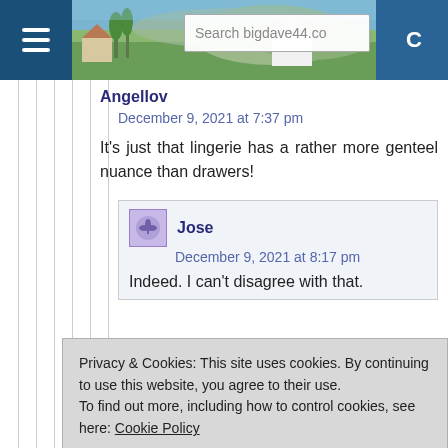Search bigdave44.co
Angellov
December 9, 2021 at 7:37 pm
It’s just that lingerie has a rather more genteel nuance than drawers!
Jose
December 9, 2021 at 8:17 pm
Indeed. I can’t disagree with that.
Privacy & Cookies: This site uses cookies. By continuing to use this website, you agree to their use.
To find out more, including how to control cookies, see here: Cookie Policy
December 9, 2021 at 11:41 am